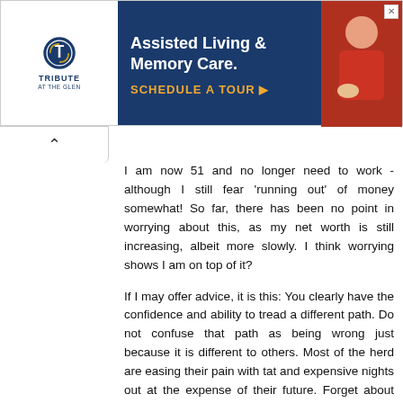[Figure (other): Advertisement banner for Tribute at the Glen - Assisted Living & Memory Care with Schedule a Tour button]
I am now 51 and no longer need to work - although I still fear 'running out' of money somewhat! So far, there has been no point in worrying about this, as my net worth is still increasing, albeit more slowly. I think worrying shows I am on top of it?
If I may offer advice, it is this: You clearly have the confidence and ability to tread a different path. Do not confuse that path as being wrong just because it is different to others. Most of the herd are easing their pain with tat and expensive nights out at the expense of their future. Forget about the tat, but a good night out never hurt anyone (it becomes less dignified after 30 though!) Enjoy your nights out if you feel like it, from time to time. A day of reckoning comes to all of us when we instinctively know if we are on the right path or not for the future (for me it was in my early 40's). At that stage it is easy to blot this out if we are on the wrong road, by buying tat and 'partying' more. That's the